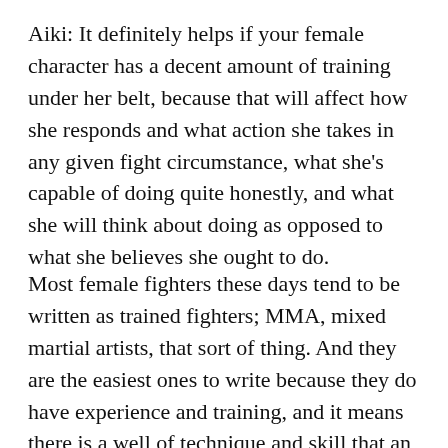Aiki: It definitely helps if your female character has a decent amount of training under her belt, because that will affect how she responds and what action she takes in any given fight circumstance, what she's capable of doing quite honestly, and what she will think about doing as opposed to what she believes she ought to do.
Most female fighters these days tend to be written as trained fighters; MMA, mixed martial artists, that sort of thing. And they are the easiest ones to write because they do have experience and training, and it means there is a well of technique and skill that an author can actually draw on to describe what's happening, how punches work, how strikes work, how throws